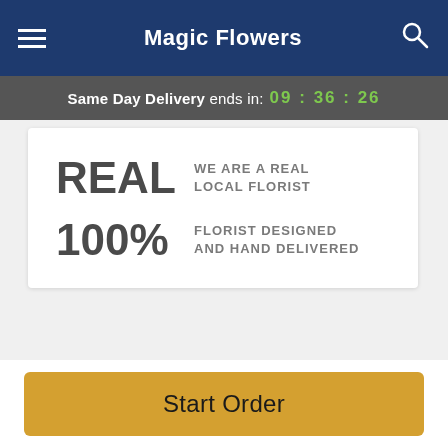Magic Flowers
Same Day Delivery ends in: 09 : 36 : 26
[Figure (infographic): Info card with two items: REAL - WE ARE A REAL LOCAL FLORIST, and 100% - FLORIST DESIGNED AND HAND DELIVERED]
Description
A symbol of young love and loyalty, white roses are a timeless token of affection. A simple and elegant way to
Start Order